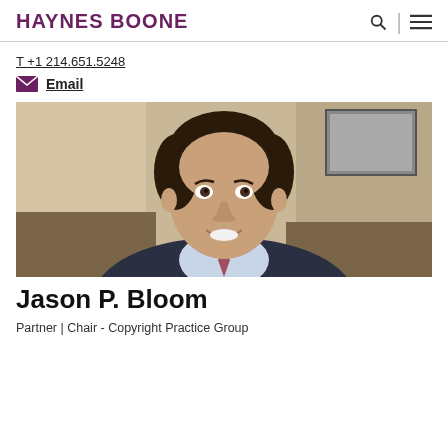HAYNES BOONE
T +1 214.651.5248
Email
[Figure (photo): Professional headshot of Jason P. Bloom, a man in a dark suit with a light blue shirt and patterned tie, smiling, with an office background.]
Jason P. Bloom
Partner | Chair - Copyright Practice Group